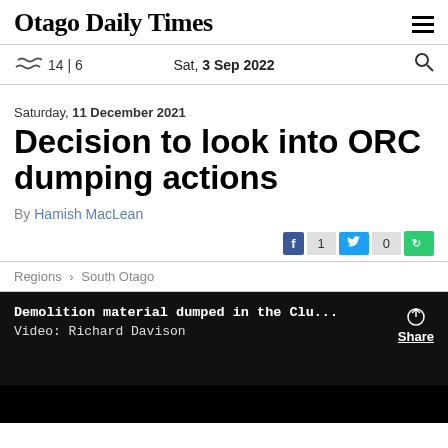Otago Daily Times
14 | 6  Sat, 3 Sep 2022
Saturday, 11 December 2021
Decision to look into ORC dumping actions
By Hamish MacLean
f 1  [Twitter] 0  [NZ]
Regions > South Otago
Demolition material dumped in the Clu...
Video: Richard Davison